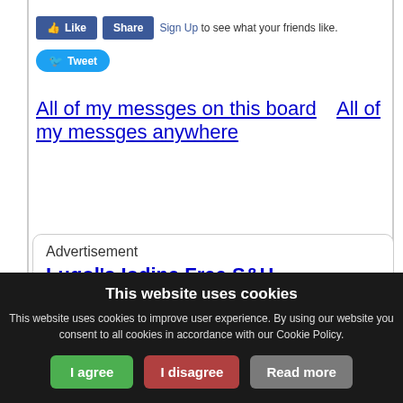[Figure (screenshot): Facebook Like and Share buttons, and Sign Up link text]
[Figure (screenshot): Twitter Tweet button]
All of my messges on this board    All of my messges anywhere
Advertisement
Lugol's Iodine Free S&H
J.Crow's® Lugol's Iodine Solution
This website uses cookies
This website uses cookies to improve user experience. By using our website you consent to all cookies in accordance with our Cookie Policy.
I agree    I disagree    Read more